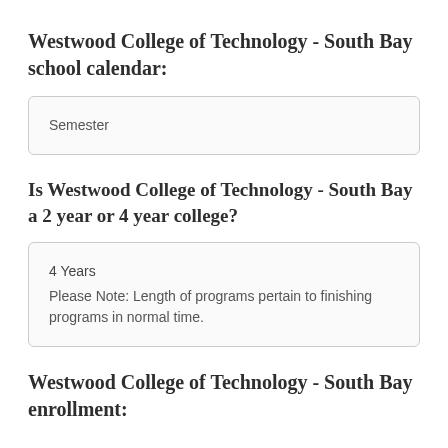Westwood College of Technology - South Bay school calendar:
Semester
Is Westwood College of Technology - South Bay a 2 year or 4 year college?
4 Years
Please Note: Length of programs pertain to finishing programs in normal time.
Westwood College of Technology - South Bay enrollment: